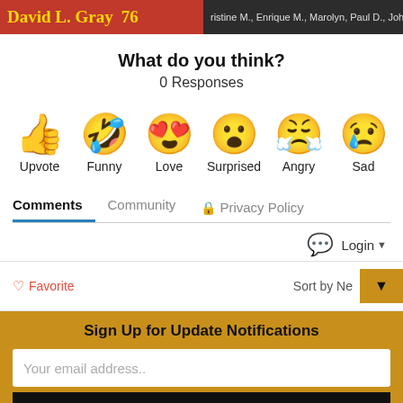[Figure (screenshot): Top banner showing 'David L. Gray' in red with number 76, and names 'ristine M., Enrique M., Marolyn, Paul D., John M., Sha' on dark background]
What do you think?
0 Responses
[Figure (infographic): Six emoji reaction icons in a row: thumbs up (Upvote), laughing face with tongue (Funny), heart eyes (Love), surprised face (Surprised), angry crying face (Angry), sad face with tear (Sad)]
Comments  Community  🔒 Privacy Policy
💬 Login ▼
♡ Favorite    Sort by Ne ▼
Sign Up for Update Notifications
Your email address..
SUBSCRIBE